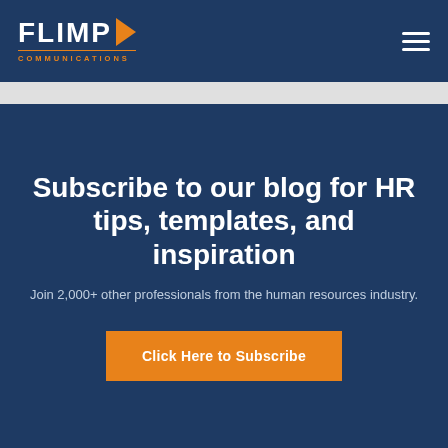FLIMP COMMUNICATIONS
Subscribe to our blog for HR tips, templates, and inspiration
Join 2,000+ other professionals from the human resources industry.
Click Here to Subscribe